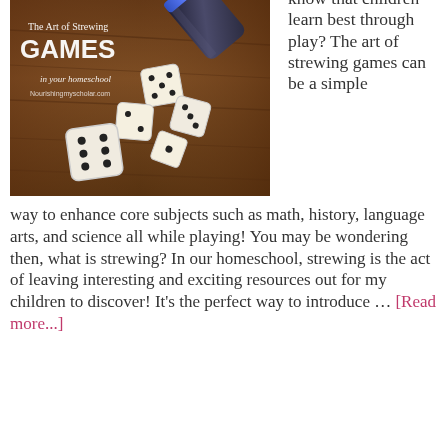[Figure (photo): Blog post thumbnail image showing dice scattered on a wooden table with a dice cup tipped over. Text overlay reads 'The Art of Strewing GAMES in your homeschool Nourishingmyscholar.com']
know that children learn best through play? The art of strewing games can be a simple way to enhance core subjects such as math, history, language arts, and science all while playing! You may be wondering then, what is strewing? In our homeschool, strewing is the act of leaving interesting and exciting resources out for my children to discover! It’s the perfect way to introduce … [Read more...]